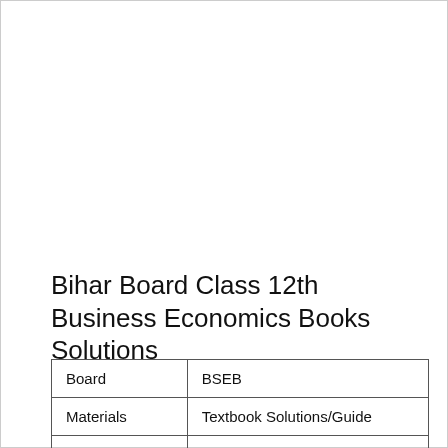Bihar Board Class 12th Business Economics Books Solutions
| Board | BSEB |
| Materials | Textbook Solutions/Guide |
| Format | DOC/PDF |